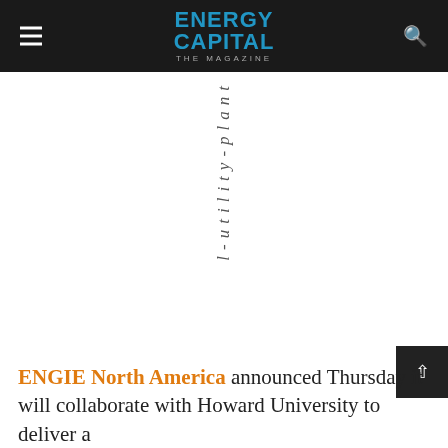ENERGY CAPITAL THE MAGAZINE
l-utility-plant
ENGIE North America announced Thursday it will collaborate with Howard University to deliver a